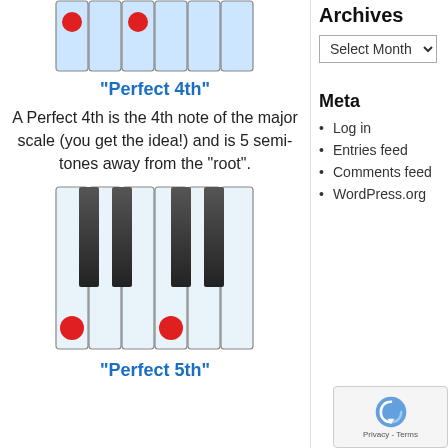[Figure (illustration): Piano keyboard diagram showing white and light blue keys with two red dots marking the root and Perfect 4th notes]
"Perfect 4th"
A Perfect 4th is the 4th note of the major scale (you get the idea!) and is 5 semi-tones away from the "root".
[Figure (illustration): Piano keyboard diagram (with black keys visible) showing two red dots marking the root and Perfect 5th notes]
"Perfect 5th"
Archives
Select Month
Meta
Log in
Entries feed
Comments feed
WordPress.org